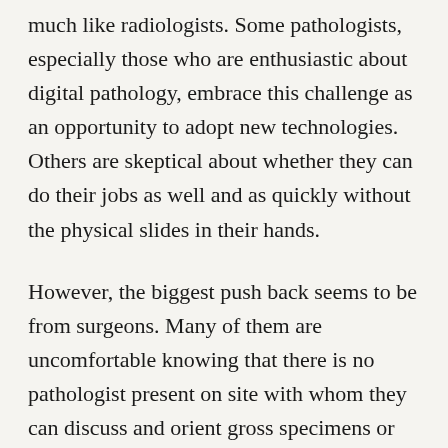much like radiologists. Some pathologists, especially those who are enthusiastic about digital pathology, embrace this challenge as an opportunity to adopt new technologies. Others are skeptical about whether they can do their jobs as well and as quickly without the physical slides in their hands.
However, the biggest push back seems to be from surgeons. Many of them are uncomfortable knowing that there is no pathologist present on site with whom they can discuss and orient gross specimens or intraoperative findings in person. Different surgeons show varying levels of interest in our work, but there is certainly a significant proportion who seem to worry that the lack of in